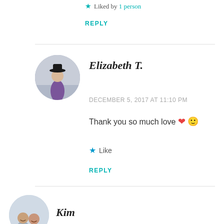★ Liked by 1 person
REPLY
[Figure (photo): Circular avatar photo of Elizabeth T., a person in a purple dress with a black hat, standing outdoors]
Elizabeth T.
DECEMBER 5, 2017 AT 11:10 PM
Thank you so much love ❤ 🙂
★ Like
REPLY
[Figure (photo): Circular avatar photo of Kim, showing two people (a man and a woman) smiling]
Kim